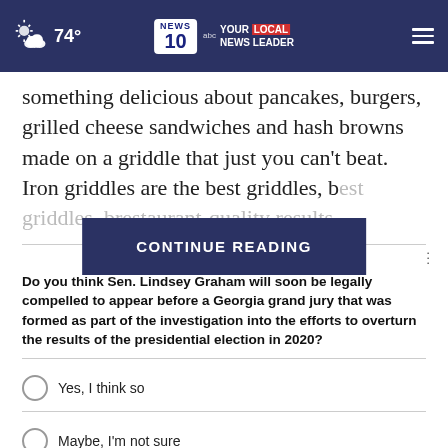74° | NEWS 10 abc YOUR LOCAL NEWS LEADER
something delicious about pancakes, burgers, grilled cheese sandwiches and hash browns made on a griddle that just you can't beat. Iron griddles are the best griddles, b[...] restaurant-quality results
CONTINUE READING
Do you think Sen. Lindsey Graham will soon be legally compelled to appear before a Georgia grand jury that was formed as part of the investigation into the efforts to overturn the results of the presidential election in 2020?
Yes, I think so
Maybe, I'm not sure